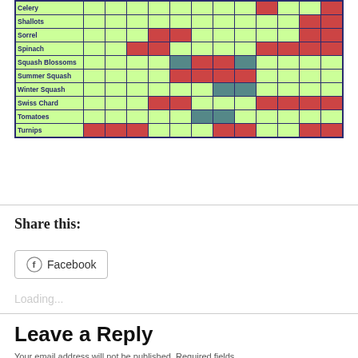[Figure (table-as-image): Partial vegetable planting calendar table showing rows for Celery, Shallots, Sorrel, Spinach, Squash Blossoms, Summer Squash, Winter Squash, Swiss Chard, Tomatoes, Turnips with colored cells (green, red, teal) indicating planting/harvest months]
Share this:
Facebook
Loading...
Leave a Reply
Your email address will not be published. Required fields